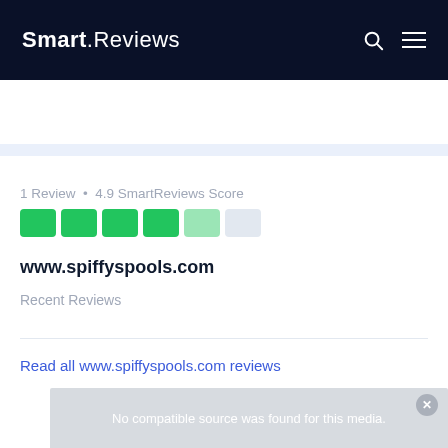Smart.Reviews
1 Review • 4.9 SmartReviews Score
www.spiffyspools.com
Recent Reviews
Read all www.spiffyspools.com reviews
No compatible source was found for this media.